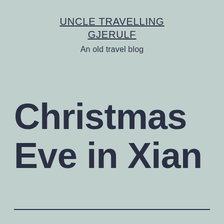UNCLE TRAVELLING GJERULF
An old travel blog
Christmas Eve in Xian